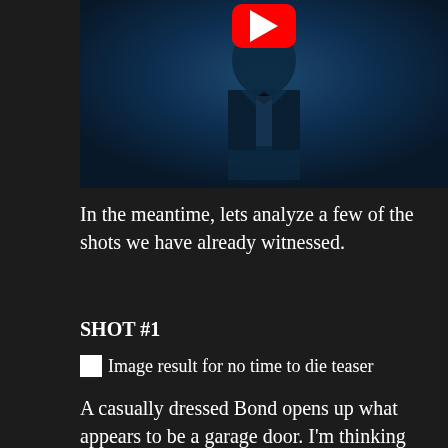[Figure (screenshot): YouTube video thumbnail showing a man in a tuxedo with bow tie in blue lighting, with a red YouTube play button overlay at the top center]
In the meantime, lets analyze a few of the shots we have already witnessed.
SHOT #1
[Figure (photo): Broken image placeholder with alt text: Image result for no time to die teaser]
A casually dressed Bond opens up what appears to be a garage door. I'm thinking this takes